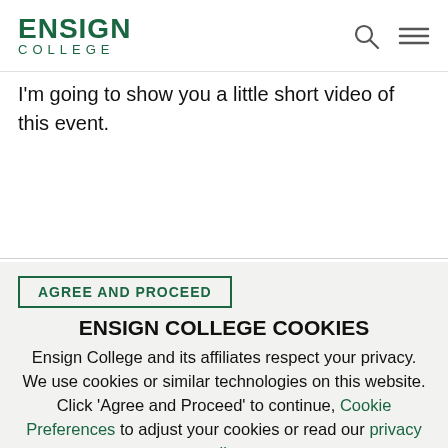ENSIGN COLLEGE
I'm going to show you a little short video of this event.
AGREE AND PROCEED
ENSIGN COLLEGE COOKIES
Ensign College and its affiliates respect your privacy. We use cookies or similar technologies on this website. Click 'Agree and Proceed' to continue, Cookie Preferences to adjust your cookies or read our privacy policy.